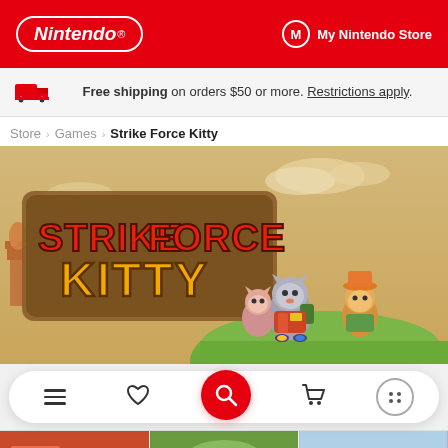Nintendo | My Nintendo Store
Free shipping on orders $50 or more. Restrictions apply.
Store > Games > Strike Force Kitty
[Figure (screenshot): Strike Force Kitty game hero image showing the game logo with cartoon cat characters on a grassy hill with a castle in the background]
[Figure (screenshot): Bottom navigation bar with hamburger menu, heart/wishlist, red search button, cart, and more options icons]
[Figure (screenshot): Thumbnail images row at the bottom of the page showing game screenshots]